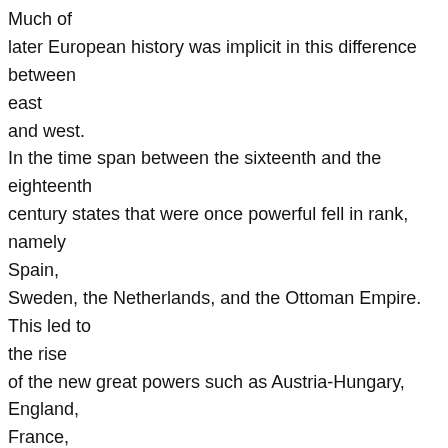Much of later European history was implicit in this difference between east and west. In the time span between the sixteenth and the eighteenth century states that were once powerful fell in rank, namely Spain, Sweden, the Netherlands, and the Ottoman Empire. This led to the rise of the new great powers such as Austria-Hungary, England, France, Prussia, and Russia. Factors to their rise were their geography, financial system, military strategy, and a new form of bureaucracy. Laws ensured the people¹s security , whereas religion did not